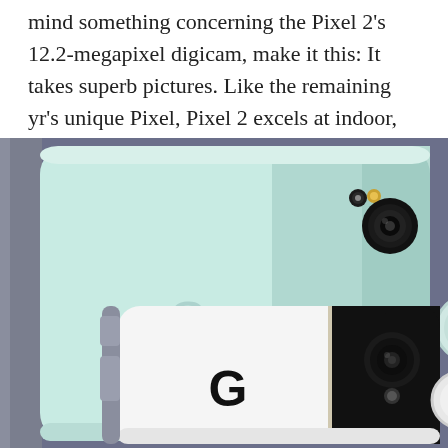mind something concerning the Pixel 2's 12.2-megapixel digicam, make it this: It takes superb pictures. Like the remaining yr's unique Pixel, Pixel 2 excels at indoor, outside, and low-light photographs.
[Figure (photo): Two Google Pixel 2 smartphones photographed from the back. The top phone is a light mint/seafoam green color with a Google 'G' logo and circular fingerprint sensor on the back, and a camera with dual LEDs in the upper right corner. The bottom phone is white with a black upper panel, showing a camera module, the Google 'G' logo, and fingerprint sensor. Both phones are placed on a gray/purple surface.]